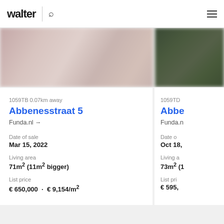walter | search | menu
[Figure (photo): Blurred exterior photo of a building with reddish/pink tones]
[Figure (photo): Blurred exterior photo with dark green tones (partially visible)]
1059TB 0.07km away
Abbenesstraat 5
Funda.nl →
Date of sale
Mar 15, 2022
Living area
71m² (11m² bigger)
List price
€ 650,000  ·  € 9,154/m²
1059TD
Abbe
Funda.n
Date o
Oct 18,
Living a
73m² (1
List pri
€ 595,